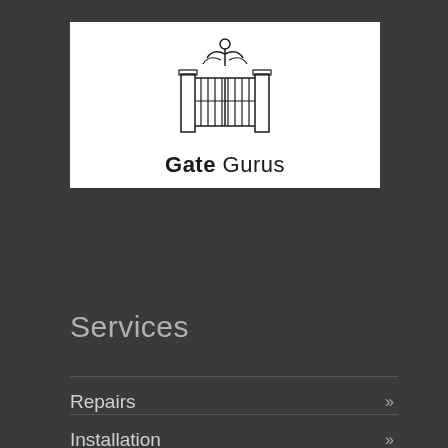[Figure (logo): Gate Gurus logo with decorative gate illustration and text 'Gate Gurus']
Services
Repairs »
Installation »